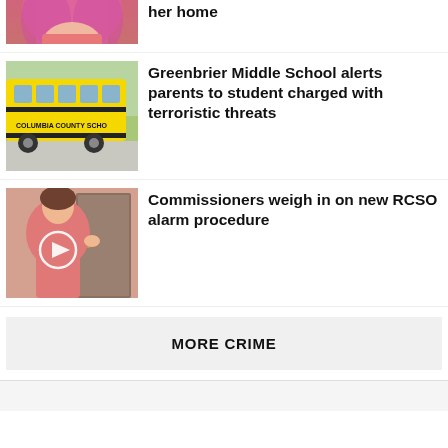[Figure (photo): Partial top crop of woman with pink hair wearing pink top — mugshot style]
her home
[Figure (photo): Yellow school bus with 'Columbia County Schools' text on side, parked outdoors]
Greenbrier Middle School alerts parents to student charged with terroristic threats
[Figure (photo): Person in pink shirt near a door, with a video play button overlay]
Commissioners weigh in on new RCSO alarm procedure
MORE CRIME